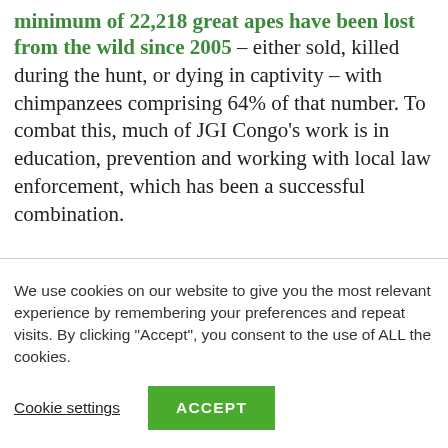minimum of 22,218 great apes have been lost from the wild since 2005 – either sold, killed during the hunt, or dying in captivity – with chimpanzees comprising 64% of that number. To combat this, much of JGI Congo's work is in education, prevention and working with local law enforcement, which has been a successful combination.
We use cookies on our website to give you the most relevant experience by remembering your preferences and repeat visits. By clicking "Accept", you consent to the use of ALL the cookies.
Cookie settings
ACCEPT